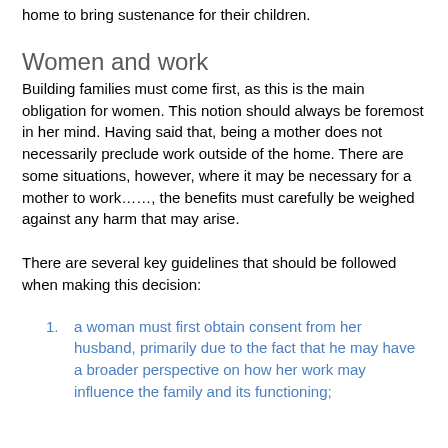home to bring sustenance for their children.
Women and work
Building families must come first, as this is the main obligation for women. This notion should always be foremost in her mind. Having said that, being a mother does not necessarily preclude work outside of the home. There are some situations, however, where it may be necessary for a mother to work……, the benefits must carefully be weighed against any harm that may arise.
There are several key guidelines that should be followed when making this decision:
a woman must first obtain consent from her husband, primarily due to the fact that he may have a broader perspective on how her work may influence the family and its functioning;